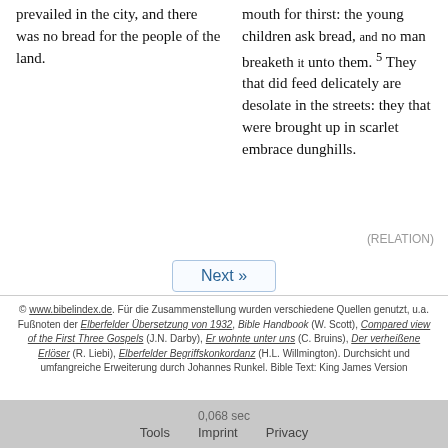prevailed in the city, and there was no bread for the people of the land.
mouth for thirst: the young children ask bread, and no man breaketh it unto them. 5 They that did feed delicately are desolate in the streets: they that were brought up in scarlet embrace dunghills.
(RELATION)
Next »
© www.bibelindex.de. Für die Zusammenstellung wurden verschiedene Quellen genutzt, u.a. Fußnoten der Elberfelder Übersetzung von 1932, Bible Handbook (W. Scott), Compared view of the First Three Gospels (J.N. Darby), Er wohnte unter uns (C. Bruins), Der verheißene Erlöser (R. Liebi), Elberfelder Begriffskonkordanz (H.L. Willmington). Durchsicht und umfangreiche Erweiterung durch Johannes Runkel. Bible Text: King James Version
0,068 sec
Tools   Imprint   Privacy